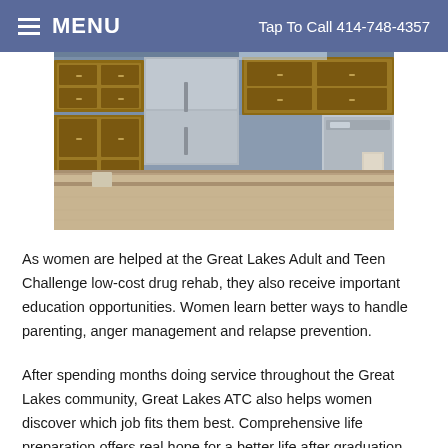MENU   Tap To Call 414-748-4357
[Figure (photo): Kitchen interior showing wooden cabinets, a stainless steel refrigerator, dishwasher, and a large beige/tan countertop island in the foreground.]
As women are helped at the Great Lakes Adult and Teen Challenge low-cost drug rehab, they also receive important education opportunities. Women learn better ways to handle parenting, anger management and relapse prevention.
After spending months doing service throughout the Great Lakes community, Great Lakes ATC also helps women discover which job fits them best. Comprehensive life preparation offers real hope for a better life after graduation. Having a rock-solid plan for their future keeps women positive and self-supporting